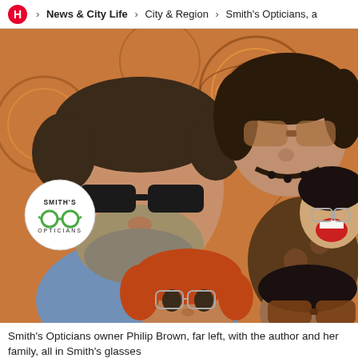H > News & City Life > City & Region > Smith's Opticians, a
[Figure (photo): Group photo of Smith's Opticians owner Philip Brown, far left, with the author and her family, all in Smith's glasses. Photo includes four people wearing various styles of glasses against an orange patterned wallpaper background. A Smith's Opticians logo badge is overlaid on the lower left.]
Smith's Opticians owner Philip Brown, far left, with the author and her family, all in Smith's glasses